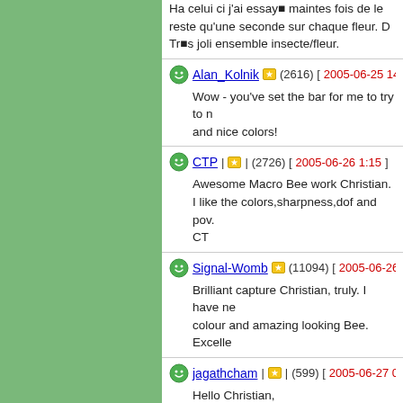Ha celui ci j'ai essay■ maintes fois de le… reste qu'une seconde sur chaque fleur. D… Tr■s joli ensemble insecte/fleur.
Alan_Kolnik (2616) [2005-06-25 14:25…]
Wow - you've set the bar for me to try to… and nice colors!
CTP (2726) [2005-06-26 1:15]
Awesome Macro Bee work Christian.
I like the colors,sharpness,dof and pov.
CT
Signal-Womb (11094) [2005-06-26 18…]
Brilliant capture Christian, truly. I have ne… colour and amazing looking Bee. Excelle…
jagathcham (599) [2005-06-27 0:30]
Hello Christian,
I like this composition. The black ordinary…
It adds a big value to the insect...;o)
Nice details and POV.
ddg (5507) [2005-06-27 3:30]
Bonjour Christian, magnifique macro de …
reflets violac■s des ailes et la teinte des…
lisar■ rose, cela n'est pas tr■s heureux…